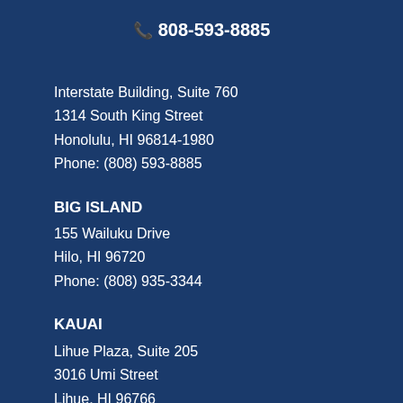808-593-8885
Interstate Building, Suite 760
1314 South King Street
Honolulu, HI 96814-1980
Phone: (808) 593-8885
BIG ISLAND
155 Wailuku Drive
Hilo, HI 96720
Phone: (808) 935-3344
KAUAI
Lihue Plaza, Suite 205
3016 Umi Street
Lihue, HI 96766
Phone: (808) 241-7500